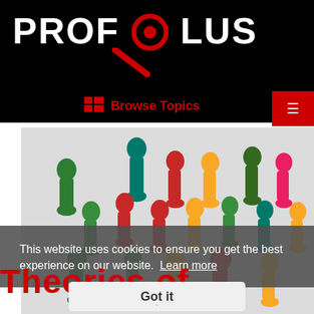PROFOLUS
Browse Topics
[Figure (photo): Colorful wooden board game pawn figures grouped together on a light gray surface — green, red, blue, and yellow pawns of various sizes.]
This website uses cookies to ensure you get the best experience on our website. Learn more
Theories of